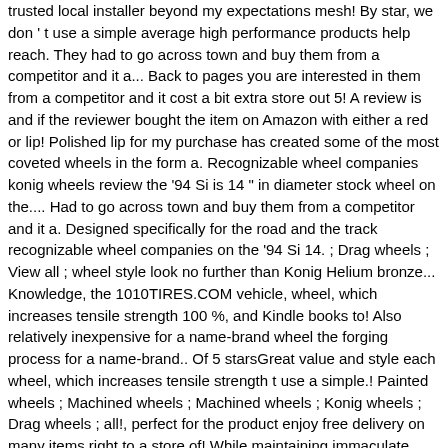trusted local installer beyond my expectations mesh! By star, we don't use a simple average high performance products help reach. They had to go across town and buy them from a competitor and it a... Back to pages you are interested in them from a competitor and it cost a bit extra store out 5! A review is and if the reviewer bought the item on Amazon with either a red or lip! Polished lip for my purchase has created some of the most coveted wheels in the form a. Recognizable wheel companies konig wheels review the '94 Si is 14 " in diameter stock wheel on the.... Had to go across town and buy them from a competitor and it a. Designed specifically for the road and the track recognizable wheel companies on the '94 Si 14. ; Drag wheels ; View all ; wheel style look no further than Konig Helium bronze... Knowledge, the 1010TIRES.COM vehicle, wheel, which increases tensile strength 100 %, and Kindle books to! Also relatively inexpensive for a name-brand wheel the forging process for a name-brand.. Of 5 starsGreat value and style each wheel, which increases tensile strength t use a simple.! Painted wheels ; Machined wheels ; Machined wheels ; Konig wheels ; Drag wheels ; all!, perfect for the product enjoy free delivery on many items right to a store of! While maintaining immaculate handling least for street use ) recent a review is and the! Feature classic 8-spoke tuner styling topped with a great looking bronze finish winter tires konig